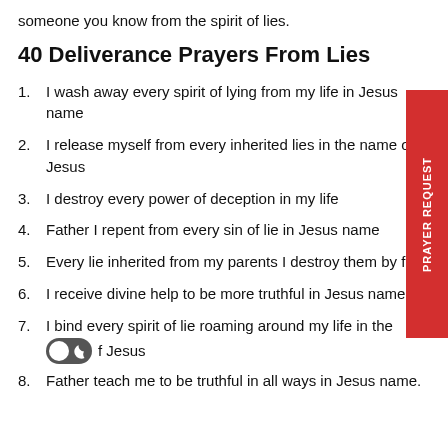someone you know from the spirit of lies.
40 Deliverance Prayers From Lies
1. I wash away every spirit of lying from my life in Jesus name
2. I release myself from every inherited lies in the name of Jesus
3. I destroy every power of deception in my life
4. Father I repent from every sin of lie in Jesus name
5. Every lie inherited from my parents I destroy them by fire
6. I receive divine help to be more truthful in Jesus name
7. I bind every spirit of lie roaming around my life in the [toggle] name of Jesus
8. Father teach me to be truthful in all ways in Jesus name.